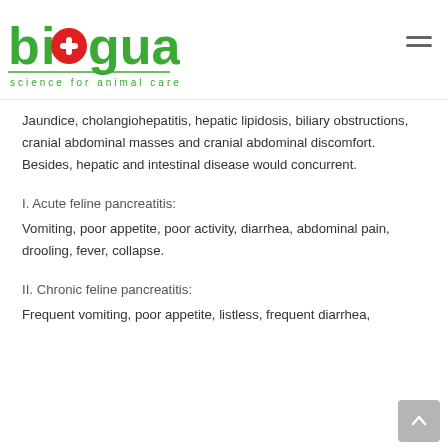[Figure (logo): Bioguard logo with red cross in the 'o', green text reading 'bioguard', tagline 'science for animal care' below in teal/green]
Jaundice, cholangiohepatitis, hepatic lipidosis, biliary obstructions, cranial abdominal masses and cranial abdominal discomfort. Besides, hepatic and intestinal disease would concurrent.
I. Acute feline pancreatitis:
Vomiting, poor appetite, poor activity, diarrhea, abdominal pain, drooling, fever, collapse.
II. Chronic feline pancreatitis:
Frequent vomiting, poor appetite, listless, frequent diarrhea,